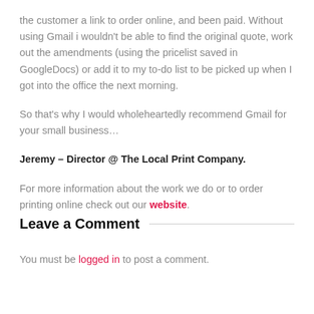the customer a link to order online, and been paid. Without using Gmail i wouldn't be able to find the original quote, work out the amendments (using the pricelist saved in GoogleDocs) or add it to my to-do list to be picked up when I got into the office the next morning.
So that's why I would wholeheartedly recommend Gmail for your small business…
Jeremy – Director @ The Local Print Company.
For more information about the work we do or to order printing online check out our website.
Leave a Comment
You must be logged in to post a comment.